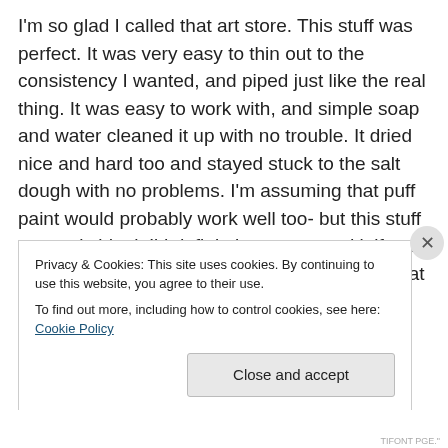I'm so glad I called that art store. This stuff was perfect. It was very easy to thin out to the consistency I wanted, and piped just like the real thing. It was easy to work with, and simple soap and water cleaned it up with no trouble. It dried nice and hard too and stayed stuck to the salt dough with no problems. I'm assuming that puff paint would probably work well too- but this stuff was truly ideal. I'd definitely recommend it if you want to try this project yourself. You can find it at any art supply store and they have it at the big craft stores too. I used Golden brand, and it's important that you get the light molding paste
Privacy & Cookies: This site uses cookies. By continuing to use this website, you agree to their use.
To find out more, including how to control cookies, see here: Cookie Policy